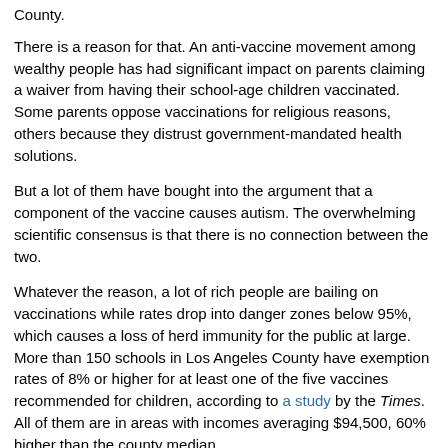County.
There is a reason for that. An anti-vaccine movement among wealthy people has had significant impact on parents claiming a waiver from having their school-age children vaccinated. Some parents oppose vaccinations for religious reasons, others because they distrust government-mandated health solutions.
But a lot of them have bought into the argument that a component of the vaccine causes autism. The overwhelming scientific consensus is that there is no connection between the two.
Whatever the reason, a lot of rich people are bailing on vaccinations while rates drop into danger zones below 95%, which causes a loss of herd immunity for the public at large. More than 150 schools in Los Angeles County have exemption rates of 8% or higher for at least one of the five vaccines recommended for children, according to a study by the Times. All of them are in areas with incomes averaging $94,500, 60% higher than the county median.
The Santa Monica-Malibu Unified School District had an exemption rate of 14.8% last year. Capistrano Unified in Orange County checked in at 9.5%.
An estimated 20 million cases of measles are reported every year worldwide, killing 164,000 people. The United States used to experience around 500,000 cases and 500 deaths a year until the